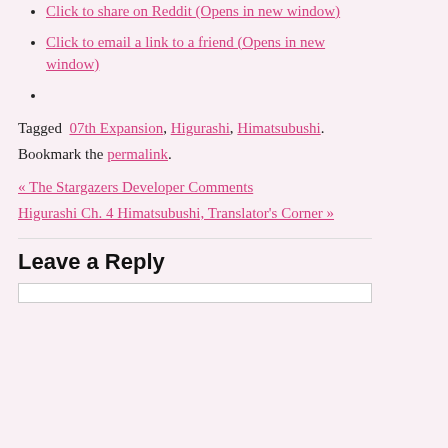Click to share on Reddit (Opens in new window)
Click to email a link to a friend (Opens in new window)
Tagged  07th Expansion, Higurashi, Himatsubushi. Bookmark the permalink.
« The Stargazers Developer Comments
Higurashi Ch. 4 Himatsubushi, Translator's Corner »
Leave a Reply